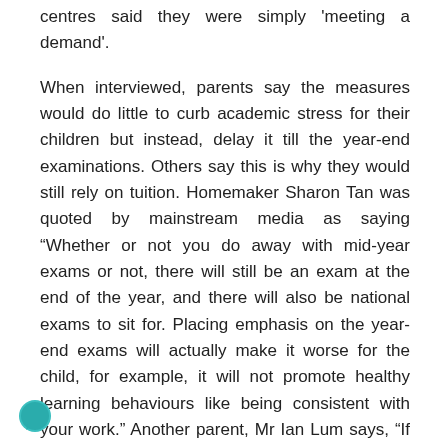centres said they were simply 'meeting a demand'.
When interviewed, parents say the measures would do little to curb academic stress for their children but instead, delay it till the year-end examinations. Others say this is why they would still rely on tuition. Homemaker Sharon Tan was quoted by mainstream media as saying “Whether or not you do away with mid-year exams or not, there will still be an exam at the end of the year, and there will also be national exams to sit for. Placing emphasis on the year-end exams will actually make it worse for the child, for example, it will not promote healthy learning behaviours like being consistent with your work.” Another parent, Mr Ian Lum says, “If the school does not track how my children are doing, the only other way to know it will be through my sons’ tuition classes.”